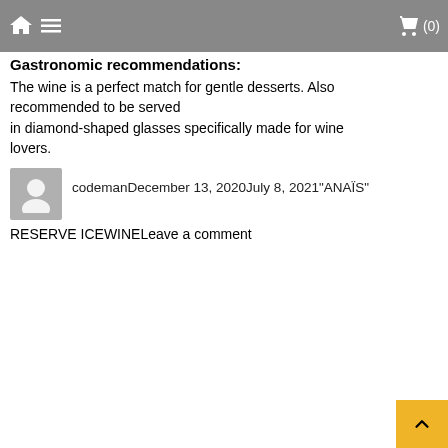Gastronomic recommendations:
The wine is a perfect match for gentle desserts. Also recommended to be served in diamond-shaped glasses specifically made for wine lovers.
codemanDecember 13, 2020July 8, 2021"ANAÏS" RESERVE ICEWINELeave a comment